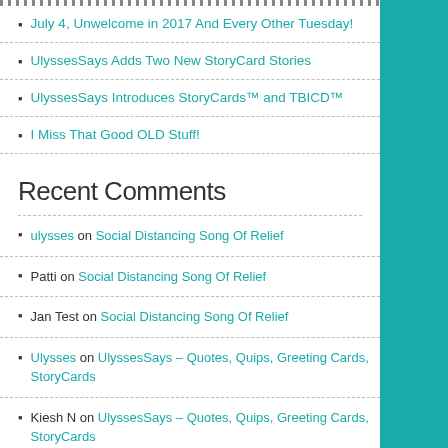July 4, Unwelcome in 2017 And Every Other Tuesday!
UlyssesSays Adds Two New StoryCard Stories
UlyssesSays Introduces StoryCards™ and TBICD™
I Miss That Good OLD Stuff!
Recent Comments
ulysses on Social Distancing Song Of Relief
Patti on Social Distancing Song Of Relief
Jan Test on Social Distancing Song Of Relief
Ulysses on UlyssesSays – Quotes, Quips, Greeting Cards, StoryCards
Kiesh N on UlyssesSays – Quotes, Quips, Greeting Cards, StoryCards